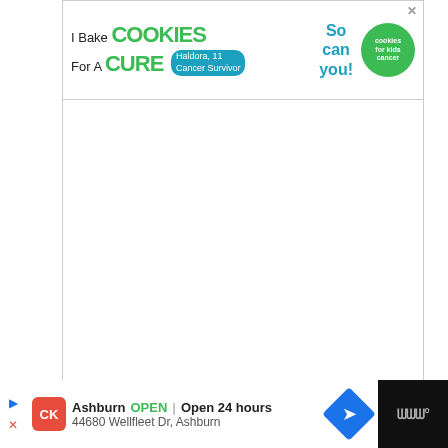[Figure (screenshot): Advertisement banner: 'I Bake COOKIES for A CURE – Haldora, 11 Cancer Survivor – So can you! – cookies for kids cancer']
PUMPKIN BOWLING
PUMPKIN TIC-TAC-TOE
HALLOWEEN FLASHLIGHT TAG
3. CHEAP HALLOWEEN PARTY DECORATIONS
[Figure (screenshot): Bottom advertisement bar: Ashburn OPEN | Open 24 hours – 44680 Wellfleet Dr, Ashburn – with Kroger logo and navigation arrow]